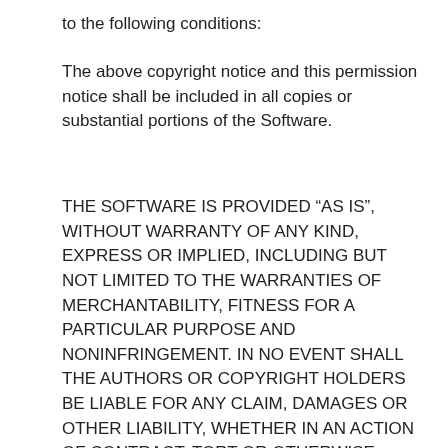to the following conditions:
The above copyright notice and this permission notice shall be included in all copies or substantial portions of the Software.
THE SOFTWARE IS PROVIDED “AS IS”, WITHOUT WARRANTY OF ANY KIND, EXPRESS OR IMPLIED, INCLUDING BUT NOT LIMITED TO THE WARRANTIES OF MERCHANTABILITY, FITNESS FOR A PARTICULAR PURPOSE AND NONINFRINGEMENT. IN NO EVENT SHALL THE AUTHORS OR COPYRIGHT HOLDERS BE LIABLE FOR ANY CLAIM, DAMAGES OR OTHER LIABILITY, WHETHER IN AN ACTION OF CONTRACT, TORT OR OTHERWISE, ARISING FROM, OUT OF OR IN CONNECTION WITH THE SOFTWARE OR THE USE OR OTHER DEALINGS IN THE SOFTWARE.